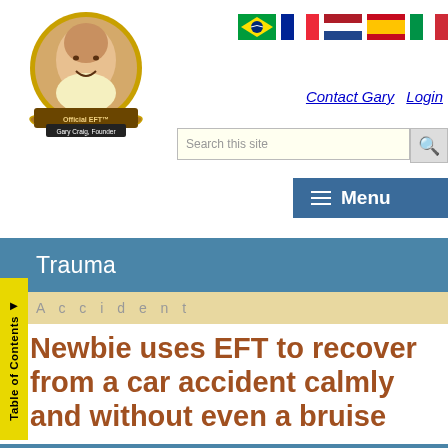[Figure (logo): Official EFT logo with Gary Craig, Founder — circular photo of smiling man with gold banner reading 'Official EFT™' and 'Gary Craig, Founder']
[Figure (illustration): Row of five country flags: Brazil, France, Netherlands, Spain, Italy]
Contact Gary   Login
Search this site
≡ Menu
Table of Contents
Trauma
Accident
Newbie uses EFT to recover from a car accident calmly and without even a bruise